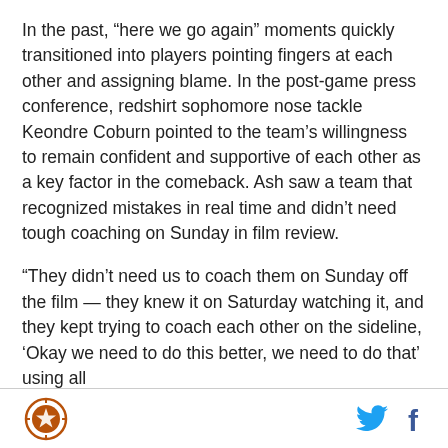In the past, “here we go again” moments quickly transitioned into players pointing fingers at each other and assigning blame. In the post-game press conference, redshirt sophomore nose tackle Keondre Coburn pointed to the team’s willingness to remain confident and supportive of each other as a key factor in the comeback. Ash saw a team that recognized mistakes in real time and didn’t need tough coaching on Sunday in film review.
“They didn’t need us to coach them on Sunday off the film — they knew it on Saturday watching it, and they kept trying to coach each other on the sideline, ‘Okay we need to do this better, we need to do that’ using all
Logo and social media icons